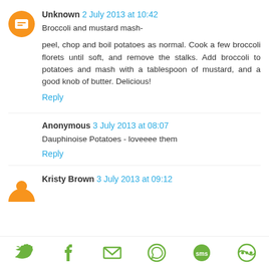Unknown 2 July 2013 at 10:42
Broccoli and mustard mash-

peel, chop and boil potatoes as normal. Cook a few broccoli florets until soft, and remove the stalks. Add broccoli to potatoes and mash with a tablespoon of mustard, and a good knob of butter. Delicious!
Reply
Anonymous 3 July 2013 at 08:07
Dauphinoise Potatoes - loveeee them
Reply
Kristy Brown 3 July 2013 at 09:12
[Figure (infographic): Social share toolbar with icons for Twitter, Facebook, Email, WhatsApp, SMS, and another service]